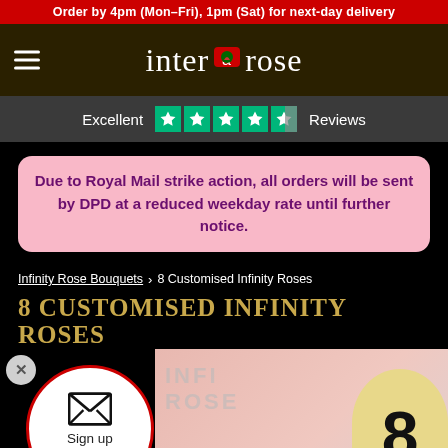Order by 4pm (Mon–Fri), 1pm (Sat) for next-day delivery
[Figure (logo): Interrose logo with hamburger menu icon and rose icon embedded in text]
[Figure (other): Trustpilot rating bar showing Excellent with 4.5 stars and Reviews label]
Due to Royal Mail strike action, all orders will be sent by DPD at a reduced weekday rate until further notice.
Infinity Rose Bouquets > 8 Customised Infinity Roses
8 CUSTOMISED INFINITY ROSES
[Figure (other): Sign up & save popup overlay with envelope icon and circular white popup with red border, close X button, and product image of infinity roses with number 8 badge]